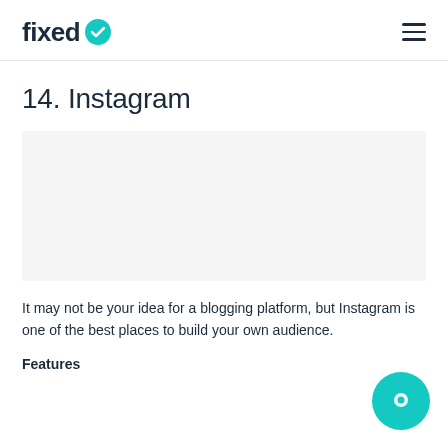fixed (logo with teal checkmark icon) — hamburger menu
14. Instagram
[Figure (other): Empty/placeholder image area]
It may not be your idea for a blogging platform, but Instagram is one of the best places to build your own audience.
Features